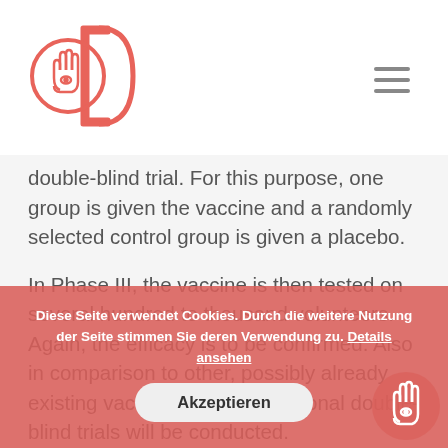[Logo: circular emblem with hand symbol] [Hamburger menu icon]
double-blind trial. For this purpose, one group is given the vaccine and a randomly selected control group is given a placebo.
In Phase III, the vaccine is then tested on several hundred to thousand volunteers. Again, the efficacy is to be confirmed. Also in comparison to other, possibly already existing vaccines. Again, additional double-blind trials will be conducted.
Phase I takes at least... Phase II and III together more than one year. Until 2013 and the outbreak of Ebola. The vaccine against Ebola went through Phase I to III within only 12...
Diese Seite verwendet Cookies. Durch die weitere Nutzung der Seite stimmen Sie deren Verwendung zu. Details ansehen
Akzeptieren